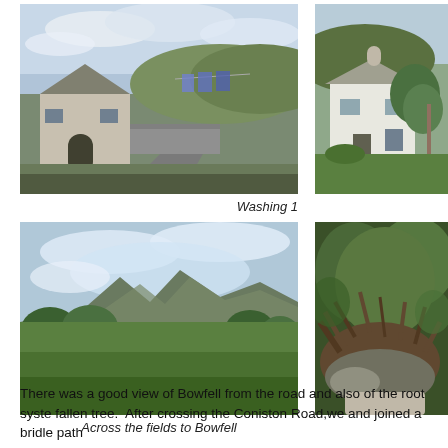[Figure (photo): Photograph of a stone cottage with a dry stone wall along a country lane, washing hanging on a line in the background, cloudy sky. Label: Washing 1]
Washing 1
[Figure (photo): Photograph of a white-painted stone farmhouse with a round chimney, surrounded by green vegetation and garden.]
[Figure (photo): Photograph of a green valley with trees and mountains in the background, Bowfell visible in the distance, rocks in foreground. Label: Across the fields to Bowfell]
Across the fields to Bowfell
[Figure (photo): Photograph showing the root system of a fallen tree with dense green woodland surrounding it.]
There was a good view of Bowfell from the road and also of the root syste fallen tree.  After crossing the Coniston Road,we and joined a bridle path